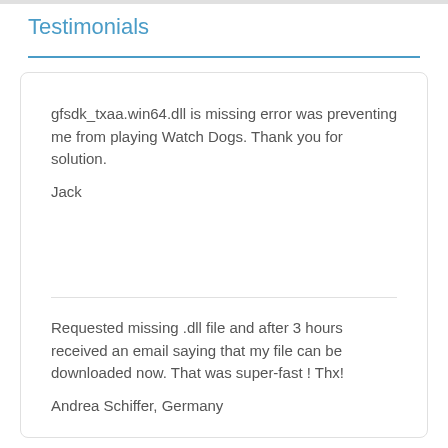Testimonials
gfsdk_txaa.win64.dll is missing error was preventing me from playing Watch Dogs. Thank you for solution.

Jack
Requested missing .dll file and after 3 hours received an email saying that my file can be downloaded now. That was super-fast ! Thx!

Andrea Schiffer, Germany